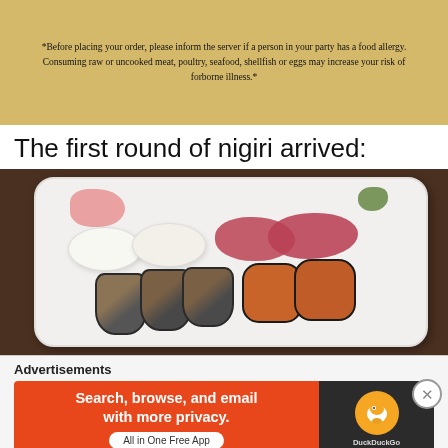[Figure (photo): Restaurant menu card on yellow/gold background with food allergy warning text in serif font]
*Before placing your order, please inform the server if a person in your party has a food allergy. Consuming raw or uncooked meat, poultry, seafood, shellfish or eggs may increase your risk of forborne illness.*
The first round of nigiri arrived:
[Figure (photo): Plate of assorted nigiri sushi including white fish, tuna, uni (sea urchin), and eel pieces on a white rectangular plate with pickled ginger and wasabi]
Advertisements
[Figure (screenshot): DuckDuckGo advertisement banner: 'Search, browse, and email with more privacy. All in One Free App' with DuckDuckGo logo on dark background]